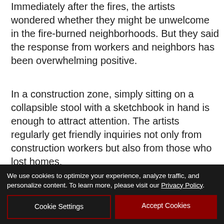Immediately after the fires, the artists wondered whether they might be unwelcome in the fire-burned neighborhoods. But they said the response from workers and neighbors has been overwhelming positive.
In a construction zone, simply sitting on a collapsible stool with a sketchbook in hand is enough to attract attention. The artists regularly get friendly inquiries not only from construction workers but also from those who lost homes.
On Thursday, Cornelis met the owner of the Brandee Lane home under construction. He turned out to be a
We use cookies to optimize your experience, analyze traffic, and personalize content. To learn more, please visit our Privacy Policy.
Cookie Settings
Accept Cookies